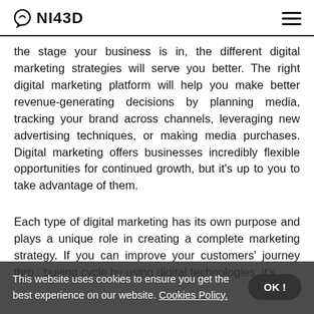NI43D
the stage your business is in, the different digital marketing strategies will serve you better. The right digital marketing platform will help you make better revenue-generating decisions by planning media, tracking your brand across channels, leveraging new advertising techniques, or making media purchases. Digital marketing offers businesses incredibly flexible opportunities for continued growth, but it's up to you to take advantage of them.
Each type of digital marketing has its own purpose and plays a unique role in creating a complete marketing strategy. If you can improve your customers' journey thro... buying cycle by using digital technologies, it's
This website uses cookies to ensure you get the best experience on our website. Cookies Policy. OK !